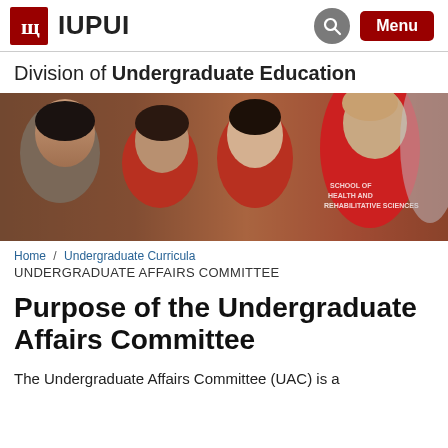IUPUI
Division of Undergraduate Education
[Figure (photo): Group of university students, several wearing red IUPUI shirts, standing in a crowd outdoors]
Home / Undergraduate Curricula
UNDERGRADUATE AFFAIRS COMMITTEE
Purpose of the Undergraduate Affairs Committee
The Undergraduate Affairs Committee (UAC) is a